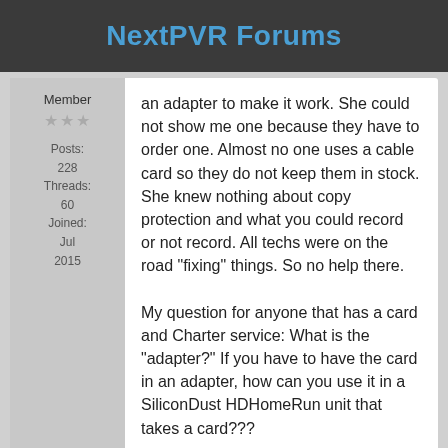NextPVR Forums
Member
★★★
Posts: 228
Threads: 60
Joined: Jul 2015
an adapter to make it work. She could not show me one because they have to order one. Almost no one uses a cable card so they do not keep them in stock. She knew nothing about copy protection and what you could record or not record. All techs were on the road "fixing" things. So no help there.
My question for anyone that has a card and Charter service: What is the "adapter?" If you have to have the card in an adapter, how can you use it in a SiliconDust HDHomeRun unit that takes a card???